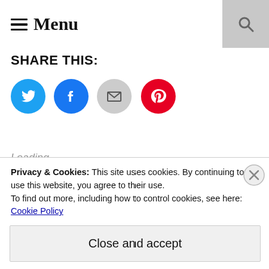Menu
SHARE THIS:
[Figure (other): Social share buttons: Twitter (blue), Facebook (blue), Email (grey), Pinterest (red)]
Loading...
Delicate Seedlings
Privacy & Cookies: This site uses cookies. By continuing to use this website, you agree to their use.
To find out more, including how to control cookies, see here: Cookie Policy
Close and accept